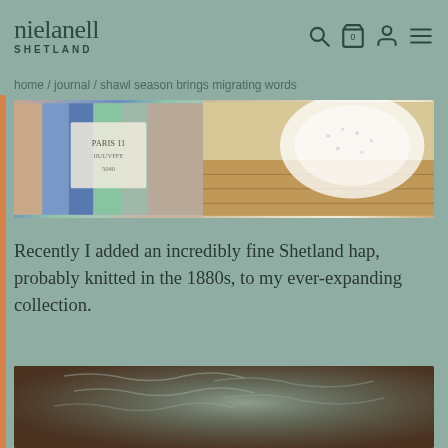nielanell SHETLAND
home / journal / shawl season brings migrating words
[Figure (photo): Colorful knitted yarn samples on the left, a white lace shawl on a wooden surface on the right]
Recently I added an incredibly fine Shetland hap, probably knitted in the 1880s, to my ever-expanding collection.
[Figure (photo): Close-up macro photograph of a fine Shetland lace shawl showing textured knit pattern in muted blue-gray and green tones]